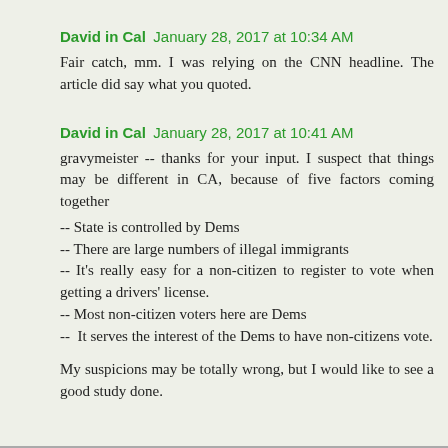David in Cal  January 28, 2017 at 10:34 AM
Fair catch, mm. I was relying on the CNN headline. The article did say what you quoted.
David in Cal  January 28, 2017 at 10:41 AM
gravymeister -- thanks for your input. I suspect that things may be different in CA, because of five factors coming together
-- State is controlled by Dems
-- There are large numbers of illegal immigrants
-- It's really easy for a non-citizen to register to vote when getting a drivers' license.
-- Most non-citizen voters here are Dems
-- It serves the interest of the Dems to have non-citizens vote.
My suspicions may be totally wrong, but I would like to see a good study done.